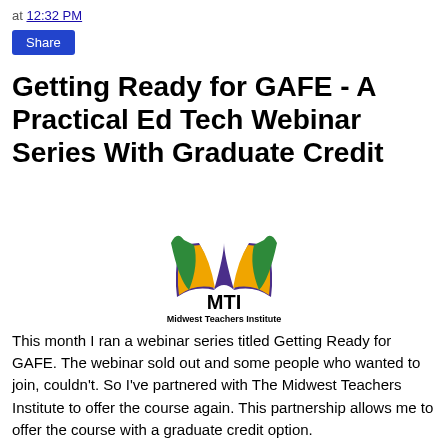at 12:32 PM
Share
Getting Ready for GAFE - A Practical Ed Tech Webinar Series With Graduate Credit
[Figure (logo): Midwest Teachers Institute logo with open book graphic in green, gold, and purple, with bold text MTI and Midwest Teachers Institute below]
This month I ran a webinar series titled Getting Ready for GAFE. The webinar sold out and some people who wanted to join, couldn't. So I've partnered with The Midwest Teachers Institute to offer the course again. This partnership allows me to offer the course with a graduate credit option.